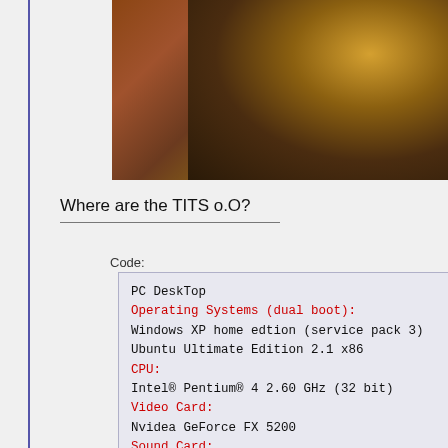[Figure (photo): Partial view of an animal figure or sculpture with warm brown and gold tones against a brown background]
Where are the TITS o.O?
Code:
PC DeskTop
Operating Systems (dual boot):
Windows XP home edtion (service pack 3)
Ubuntu Ultimate Edition 2.1 x86
CPU:
Intel® Pentium® 4 2.60 GHz (32 bit)
Video Card:
Nvidea GeForce FX 5200
Sound Card:
SoundMax Integrated Digital Audio
Memory:
1.50GB RAM